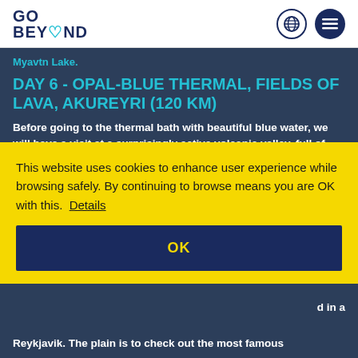GO BEYOND
Myavtn Lake.
DAY 6 - OPAL-BLUE THERMAL, FIELDS OF LAVA, AKUREYRI (120 KM)
Before going to the thermal bath with beautiful blue water, we will have a visit at a surprisingly active volcanic valley, full of sulfurous eruptions, called
This website uses cookies to enhance user experience while browsing safely. By continuing to browse means you are OK with this. Details
OK
Reykjavik. The plain is to check out the most famous